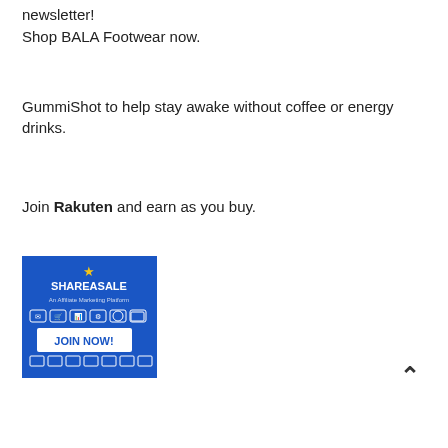newsletter!
Shop BALA Footwear now.
GummiShot to help stay awake without coffee or energy drinks.
Join Rakuten and earn as you buy.
[Figure (illustration): ShareASale affiliate marketing platform banner ad with blue background, star logo, and 'JOIN NOW!' button]